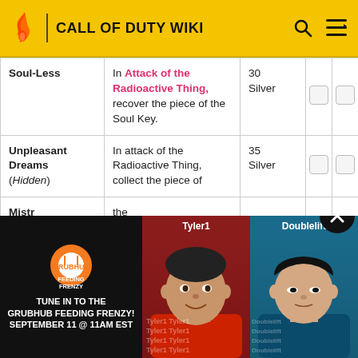CALL OF DUTY WIKI
| Name | Description | Points |  |  |
| --- | --- | --- | --- | --- |
| Soul-Less | In Attack of the Radioactive Thing, recover the piece of the Soul Key. | 30 Silver |  |  |
| Unpleasant Dreams (Hidden) | In attack of the Radioactive Thing, collect the piece of... | 35 Silver |  |  |
| Mistr... the Da... (Hidden) | the Radioactive... |  |  |  |
[Figure (screenshot): Grubhub Feeding Frenzy advertisement overlay featuring Tyler1 and Doublelift. Text: TUNE IN TO THE GRUBHUB FEEDING FRENZY! SEPTEMBER 11 @ 11AM EST]